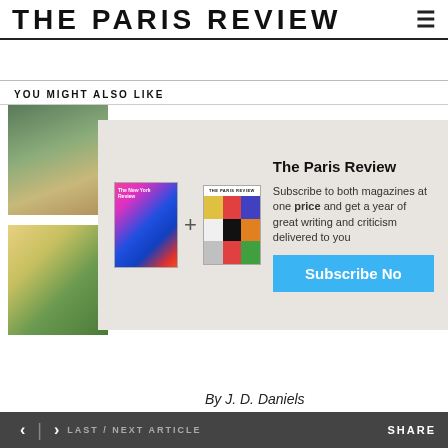THE PARIS REVIEW
YOU MIGHT ALSO LIKE
[Figure (screenshot): Promotional overlay showing New York Review of Books + The Paris Review magazine covers with subscribe call to action. Text reads: 'The Paris Review' / 'Subscribe to both magazines at one price and get a year of great writing and criticism delivered to your door.' Button: 'Subscribe Now']
[Figure (photo): Outdoor scene photo thumbnail]
[Figure (photo): Green artichoke or plant photo thumbnail]
[Figure (photo): Black and white portrait photo thumbnail]
By J. D. Daniels
< | > LAST / NEXT ARTICLE    SHARE